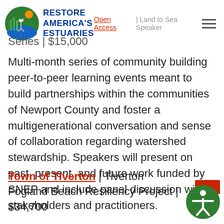Restore America's Estuaries | Open Access | Land to Sea Speaker Series
Series | $15,000
Multi-month series of community building peer-to-peer learning events meant to build partnerships within the communities of Newport County and foster a multigenerational conversation and sense of collaboration regarding watershed stewardship. Speakers will present on past, present, and future work funded by SNEP and include panel discussion with stakeholders and practitioners.
Town of Tiverton | Tiverton Fogland Beach Resiliency Project | $34,700